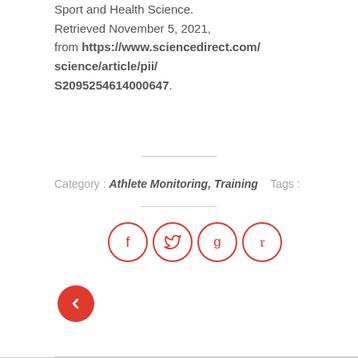Sport and Health Science. Retrieved November 5, 2021, from https://www.sciencedirect.com/science/article/pii/S2095254614000647.
Category : Athlete Monitoring, Training   Tags :
[Figure (other): Four social media share buttons in circles: Facebook (f), Twitter (bird), Google+ (g+), Pinterest (P)]
[Figure (other): Red circular back/previous navigation button with left-pointing chevron]